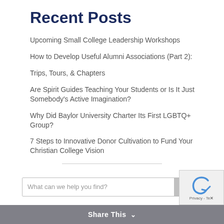Recent Posts
Upcoming Small College Leadership Workshops
How to Develop Useful Alumni Associations (Part 2):
Trips, Tours, & Chapters
Are Spirit Guides Teaching Your Students or Is It Just Somebody's Active Imagination?
Why Did Baylor University Charter Its First LGBTQ+ Group?
7 Steps to Innovative Donor Cultivation to Fund Your Christian College Vision
Share This